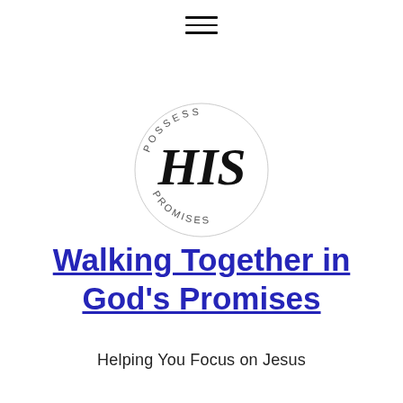[Figure (logo): Circular logo with curved text 'POSSESS' on top and 'PROMISES' on bottom, with large cursive/script text 'HIS' in the center]
Walking Together in God's Promises
Helping You Focus on Jesus